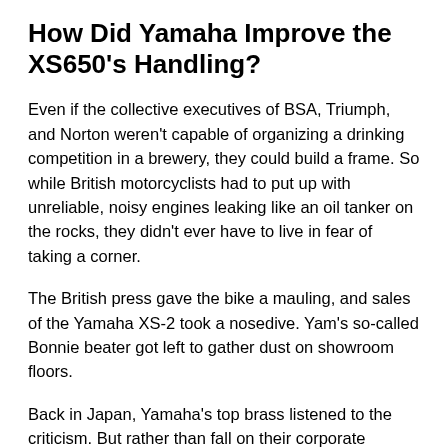How Did Yamaha Improve the XS650's Handling?
Even if the collective executives of BSA, Triumph, and Norton weren't capable of organizing a drinking competition in a brewery, they could build a frame. So while British motorcyclists had to put up with unreliable, noisy engines leaking like an oil tanker on the rocks, they didn't ever have to live in fear of taking a corner.
The British press gave the bike a mauling, and sales of the Yamaha XS-2 took a nosedive. Yam's so-called Bonnie beater got left to gather dust on showroom floors.
Back in Japan, Yamaha's top brass listened to the criticism. But rather than fall on their corporate swords, they did the next best thing and called a sheep farmer in Leicestershire.